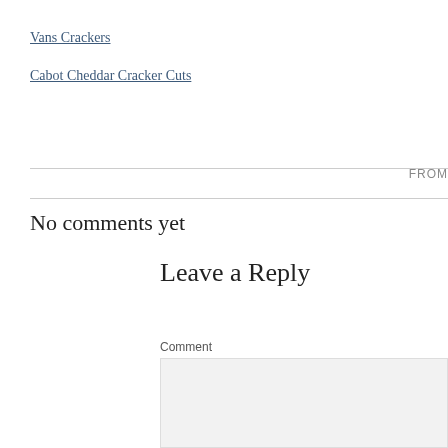Vans Crackers
Cabot Cheddar Cracker Cuts
FROM
No comments yet
Leave a Reply
Comment